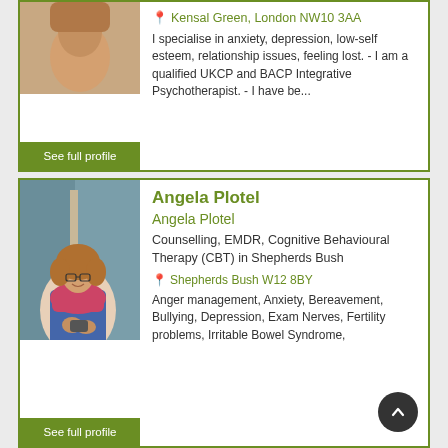[Figure (photo): Partial photo of a therapist at top of page, cropped]
Kensal Green, London NW10 3AA
I specialise in anxiety, depression, low-self esteem, relationship issues, feeling lost. - I am a qualified UKCP and BACP Integrative Psychotherapist. - I have be...
See full profile
[Figure (photo): Photo of Angela Plotel, a woman with curly hair wearing glasses and a pink/red scarf, sitting and smiling]
Angela Plotel
Angela Plotel
Counselling, EMDR, Cognitive Behavioural Therapy (CBT) in Shepherds Bush
Shepherds Bush W12 8BY
Anger management, Anxiety, Bereavement, Bullying, Depression, Exam Nerves, Fertility problems, Irritable Bowel Syndrome,
See full profile